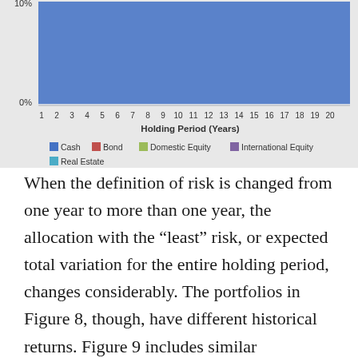[Figure (line-chart): Line chart showing holding period (years 1-20) on x-axis. Y-axis shows 0% to 10%. The chart area is mostly covered by a blue (Cash) band near or above 10%.]
When the definition of risk is changed from one year to more than one year, the allocation with the "least" risk, or expected total variation for the entire holding period, changes considerably. The portfolios in Figure 8, though, have different historical returns. Figure 9 includes similar information to Figure 8, although each of the portfolios in Figure 9 has the minimum amount of risk and historical returns for agreement for each